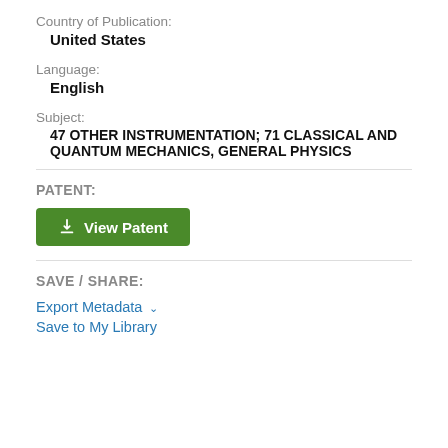Country of Publication:
United States
Language:
English
Subject:
47 OTHER INSTRUMENTATION; 71 CLASSICAL AND QUANTUM MECHANICS, GENERAL PHYSICS
PATENT:
[Figure (other): Green button labeled 'View Patent' with a download icon]
SAVE / SHARE:
Export Metadata
Save to My Library